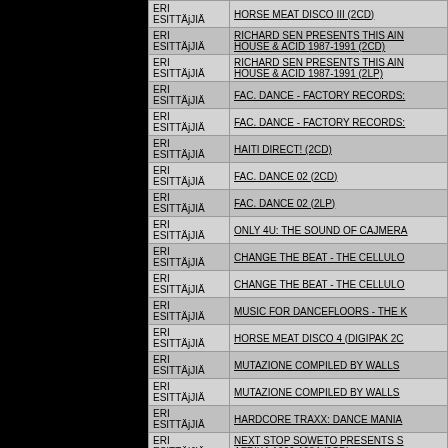| ERI ESITTÄJJÄ | Title |
| --- | --- |
| ERI ESITTÄjJIÄ | HORSE MEAT DISCO III (2CD) |
| ERI ESITTÄjJIÄ | RICHARD SEN PRESENTS THIS AIN HOUSE & ACID 1987-1991 (2CD) |
| ERI ESITTÄjJIÄ | RICHARD SEN PRESENTS THIS AIN HOUSE & ACID 1987-1991 (2LP) |
| ERI ESITTÄjJIÄ | FAC. DANCE - FACTORY RECORDS: |
| ERI ESITTÄjJIÄ | FAC. DANCE - FACTORY RECORDS: |
| ERI ESITTÄjJIÄ | HAITI DIRECT! (2CD) |
| ERI ESITTÄjJIÄ | FAC. DANCE 02 (2CD) |
| ERI ESITTÄjJIÄ | FAC. DANCE 02 (2LP) |
| ERI ESITTÄjJIÄ | ONLY 4U: THE SOUND OF CAJMERA |
| ERI ESITTÄjJIÄ | CHANGE THE BEAT - THE CELLULO |
| ERI ESITTÄjJIÄ | CHANGE THE BEAT - THE CELLULO |
| ERI ESITTÄjJIÄ | MUSIC FOR DANCEFLOORS - THE K |
| ERI ESITTÄjJIÄ | HORSE MEAT DISCO 4 (DIGIPAK 2C |
| ERI ESITTÄjJIÄ | MUTAZIONE COMPILED BY WALLS |
| ERI ESITTÄjJIÄ | MUTAZIONE COMPILED BY WALLS |
| ERI ESITTÄjJIÄ | HARDCORE TRAXX: DANCE MANIA |
| ERI ESITTÄjJIÄ | NEXT STOP SOWETO PRESENTS S AFRIKA 1966-1984 (2CD) |
| ERI ESITTÄjJIÄ | DANCE MANIA: GHETTO MADNESS |
| ERI ESITTÄjJIÄ |  |